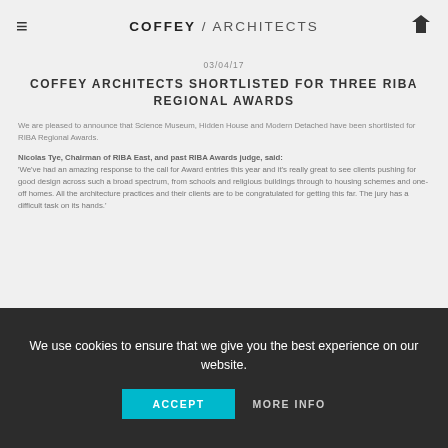COFFEY / ARCHITECTS
03/04/17
COFFEY ARCHITECTS SHORTLISTED FOR THREE RIBA REGIONAL AWARDS
We are pleased to announce that Science Museum, Hidden House and Modern Detached have been shortlisted for RIBA Regional Awards.
Nicolas Tye, Chairman of RIBA East, and past RIBA Awards judge, said:
'We've had an amazing response to the call for Award entries this year and it's really great to see clients pushing for good design across such a broad spectrum, from schools and religious buildings through to housing schemes and one-off homes. All the architecture practices and their clients are to be congratulated for getting this far. The jury has a difficult task on its hands.'
Pleased to announce, we've been shortlisted for three @RIBA Regional Awards: https://t.co/Wf2Fwb8rCC https://t.co/LBkfXTvrNt
We use cookies to ensure that we give you the best experience on our website.